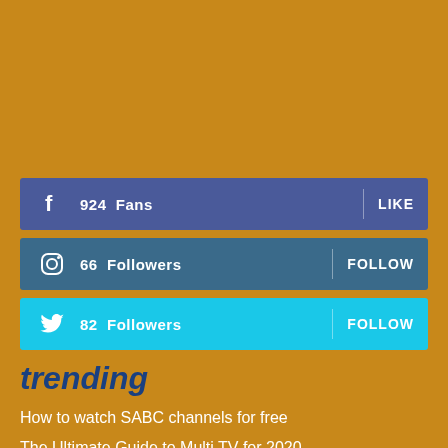924 Fans  LIKE
66 Followers  FOLLOW
82 Followers  FOLLOW
trending
How to watch SABC channels for free
The Ultimate Guide to Multi TV for 2020
OpenView HD: free Satellite TV channels for South Africa